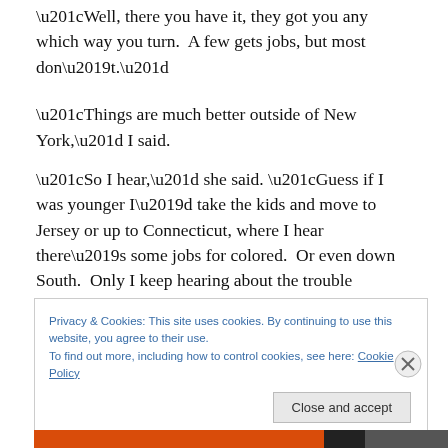“Well, there you have it, they got you any which way you turn.  A few gets jobs, but most don’t.”
“Things are much better outside of New York,” I said.
“So I hear,” she said. “Guess if I was younger I’d take the kids and move to Jersey or up to Connecticut, where I hear there’s some jobs for colored.  Or even down South.  Only I keep hearing about the trouble they’re having down
Privacy & Cookies: This site uses cookies. By continuing to use this website, you agree to their use.
To find out more, including how to control cookies, see here: Cookie Policy
Close and accept